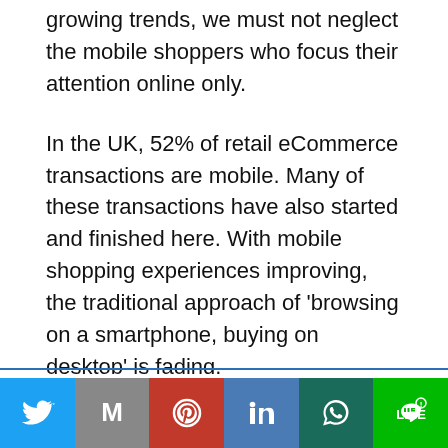growing trends, we must not neglect the mobile shoppers who focus their attention online only.
In the UK, 52% of retail eCommerce transactions are mobile. Many of these transactions have also started and finished here. With mobile shopping experiences improving, the traditional approach of ‘browsing on a smartphone, buying on desktop’ is fading.
Creating a mobile-friendly website or even your
This website uses cookies.
[Figure (screenshot): Cookie accept button (brown/dark red) with text 'Accept']
[Figure (screenshot): Social sharing bar with Twitter, Gmail/Google, Pinterest, LinkedIn, WhatsApp, and LINE buttons]